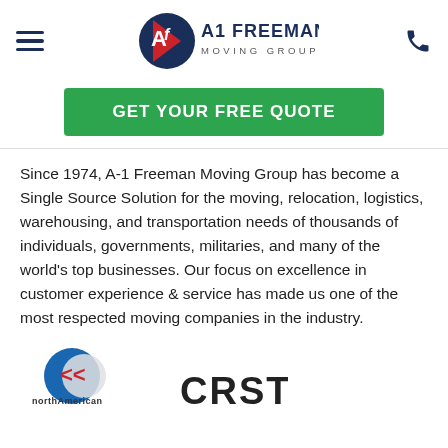[Figure (logo): A1 Freeman Moving Group logo with hamburger menu icon on the left and phone icon on the right]
GET YOUR FREE QUOTE
Since 1974, A-1 Freeman Moving Group has become a Single Source Solution for the moving, relocation, logistics, warehousing, and transportation needs of thousands of individuals, governments, militaries, and many of the world's top businesses. Our focus on excellence in customer experience & service has made us one of the most respected moving companies in the industry.
[Figure (logo): North American Van Lines logo and CRST logo at bottom of page]